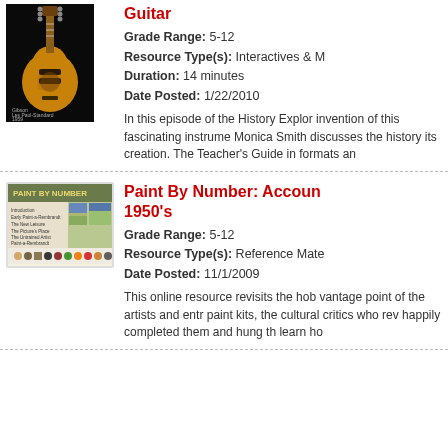[Figure (photo): Gibson Les Paul-Standard 1959 guitar on black background]
Guitar
Grade Range: 5-12
Resource Type(s): Interactives & M
Duration: 14 minutes
Date Posted: 1/22/2010
In this episode of the History Explor invention of this fascinating instrume Monica Smith discusses the history its creation. The Teacher's Guide in formats an
[Figure (screenshot): Paint By Number interactive website screenshot showing navigation menu and landscape paintings with colored dot navigation at bottom]
Paint By Number: Accoun 1950's
Grade Range: 5-12
Resource Type(s): Reference Mate
Date Posted: 11/1/2009
This online resource revisits the hob vantage point of the artists and entr paint kits, the cultural critics who rev happily completed them and hung th learn ho